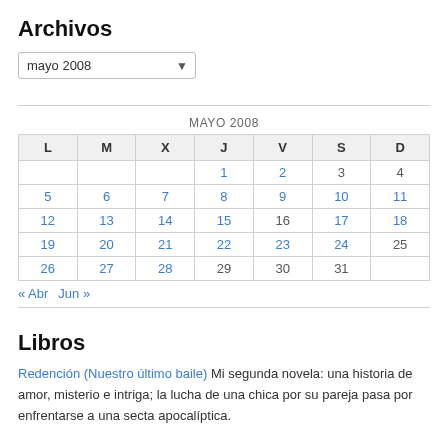Archivos
mayo 2008
| L | M | X | J | V | S | D |
| --- | --- | --- | --- | --- | --- | --- |
|  |  |  | 1 | 2 | 3 | 4 |
| 5 | 6 | 7 | 8 | 9 | 10 | 11 |
| 12 | 13 | 14 | 15 | 16 | 17 | 18 |
| 19 | 20 | 21 | 22 | 23 | 24 | 25 |
| 26 | 27 | 28 | 29 | 30 | 31 |  |
« Abr  Jun »
Libros
Redención (Nuestro último baile) Mi segunda novela: una historia de amor, misterio e intriga; la lucha de una chica por su pareja pasa por enfrentarse a una secta apocalíptica.